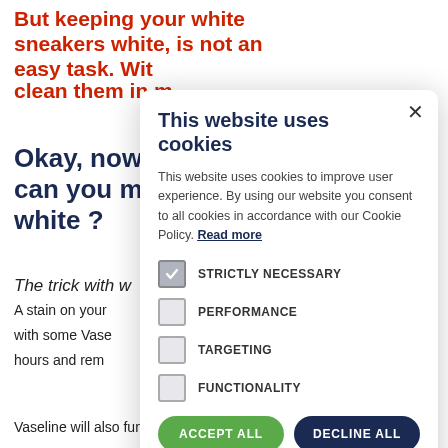But keeping your white sneakers white, is not an easy task. With... clean them in m...
Okay, now... can you ma... white ?
The trick with w...
A stain on your... with some Vase... hours and rem...
Vaseline will also function as a protection layer.
[Figure (screenshot): Cookie consent modal dialog with title 'This website uses cookies', body text about cookie policy, checkboxes for STRICTLY NECESSARY (checked), PERFORMANCE, TARGETING, FUNCTIONALITY, and two buttons: ACCEPT ALL (green) and DECLINE ALL (dark navy), plus SHOW DETAILS link.]